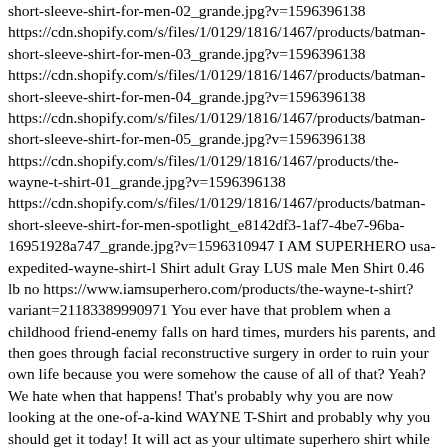short-sleeve-shirt-for-men-02_grande.jpg?v=1596396138 https://cdn.shopify.com/s/files/1/0129/1816/1467/products/batman-short-sleeve-shirt-for-men-03_grande.jpg?v=1596396138 https://cdn.shopify.com/s/files/1/0129/1816/1467/products/batman-short-sleeve-shirt-for-men-04_grande.jpg?v=1596396138 https://cdn.shopify.com/s/files/1/0129/1816/1467/products/batman-short-sleeve-shirt-for-men-05_grande.jpg?v=1596396138 https://cdn.shopify.com/s/files/1/0129/1816/1467/products/the-wayne-t-shirt-01_grande.jpg?v=1596396138 https://cdn.shopify.com/s/files/1/0129/1816/1467/products/batman-short-sleeve-shirt-for-men-spotlight_e8142df3-1af7-4be7-96ba-16951928a747_grande.jpg?v=1596310947 I AM SUPERHERO usa-expedited-wayne-shirt-l Shirt adult Gray LUS male Men Shirt 0.46 lb no https://www.iamsuperhero.com/products/the-wayne-t-shirt?variant=21183389990971 You ever have that problem when a childhood friend-enemy falls on hard times, murders his parents, and then goes through facial reconstructive surgery in order to ruin your own life because you were somehow the cause of all of that? Yeah? We hate when that happens! That's probably why you are now looking at the one-of-a-kind WAYNE T-Shirt and probably why you should get it today! It will act as your ultimate superhero shirt while you workout or roam the city. Destined to become your all time favorite shirt you will ever own!  Our premium quality, light weight SUPERWEAR™ material blend will serve well to enhance your training, giving you the superhero confidence to take